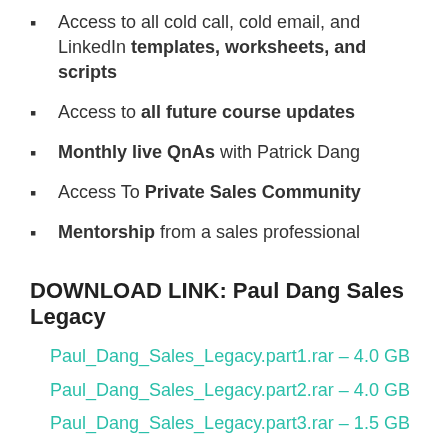Access to all cold call, cold email, and LinkedIn templates, worksheets, and scripts
Access to all future course updates
Monthly live QnAs with Patrick Dang
Access To Private Sales Community
Mentorship from a sales professional
DOWNLOAD LINK: Paul Dang Sales Legacy
Paul_Dang_Sales_Legacy.part1.rar – 4.0 GB
Paul_Dang_Sales_Legacy.part2.rar – 4.0 GB
Paul_Dang_Sales_Legacy.part3.rar – 1.5 GB